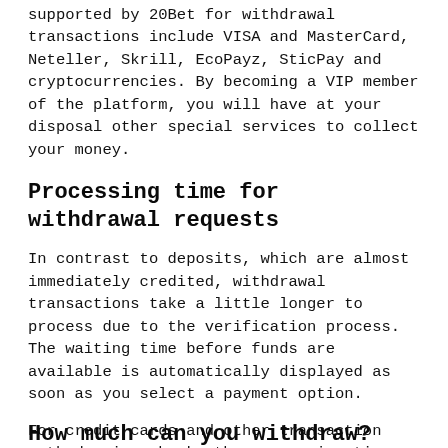supported by 20Bet for withdrawal transactions include VISA and MasterCard, Neteller, Skrill, EcoPayz, SticPay and cryptocurrencies. By becoming a VIP member of the platform, you will have at your disposal other special services to collect your money.
Processing time for withdrawal requests
In contrast to deposits, which are almost immediately credited, withdrawal transactions take a little longer to process due to the verification process. The waiting time before funds are available is automatically displayed as soon as you select a payment option.
For credit cards and other transaction methods via a bank, the processing time ranges from 2 to 5 days. E-wallets offer shorter delays, usually within a few minutes of submitting the withdrawal request.
How much can you withdraw?